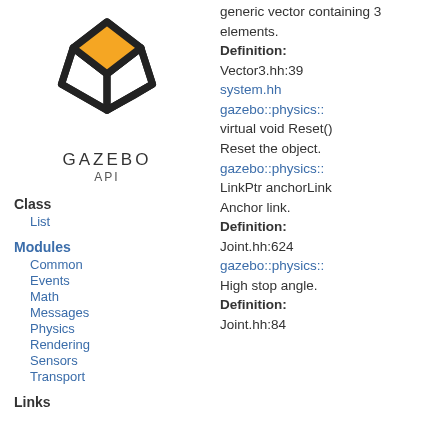[Figure (logo): Gazebo API logo — geometric hexagonal box shape with orange diamond top, black outline, with text GAZEBO API below]
Class
List
Modules
Common
Events
Math
Messages
Physics
Rendering
Sensors
Transport
Links
generic vector containing 3 elements.
Definition: Vector3.hh:39
system.hh
gazebo::physics::
virtual void Reset()
Reset the object.
gazebo::physics::
LinkPtr anchorLink
Anchor link.
Definition: Joint.hh:624
gazebo::physics::
High stop angle.
Definition: Joint.hh:84